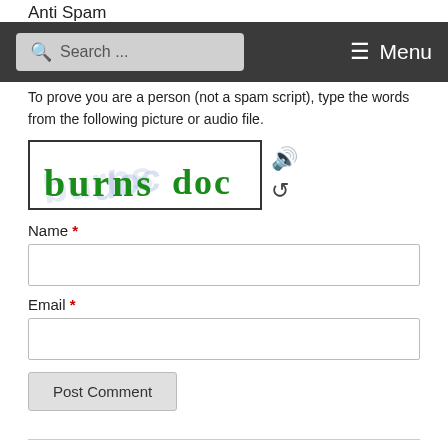Anti Spam
Search ... Menu
To prove you are a person (not a spam script), type the words from the following picture or audio file.
[Figure (other): CAPTCHA image showing the text 'burns doc' written in green handwritten letters on white background with a light blue watermark]
Name *
Email *
Post Comment